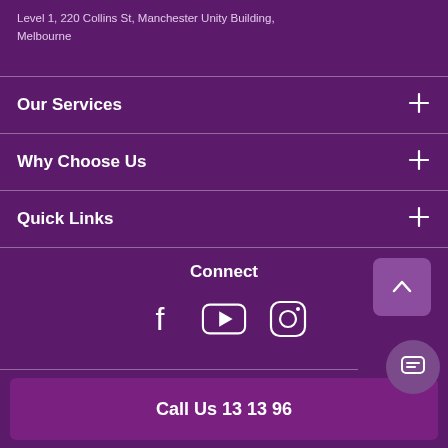Level 1, 220 Collins St, Manchester Unity Building, Melbourne
Our Services
Why Choose Us
Quick Links
Connect
[Figure (infographic): Social media icons: Facebook, YouTube, Instagram]
Call Us 13 13 96